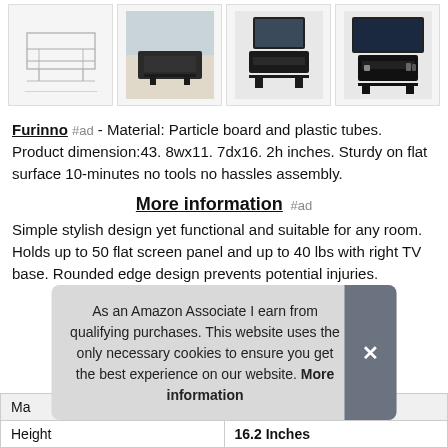[Figure (photo): Row of four product images showing TV stand from different angles - line drawing, lifestyle photo, black frame with TV, and side view with TV]
Furinno #ad - Material: Particle board and plastic tubes. Product dimension:43. 8wx11. 7dx16. 2h inches. Sturdy on flat surface 10-minutes no tools no hassles assembly.
More information #ad
Simple stylish design yet functional and suitable for any room. Holds up to 50 flat screen panel and up to 40 lbs with right TV base. Rounded edge design prevents potential injuries.
As an Amazon Associate I earn from qualifying purchases. This website uses the only necessary cookies to ensure you get the best experience on our website. More information
| Ma |
| Height | 16.2 Inches |